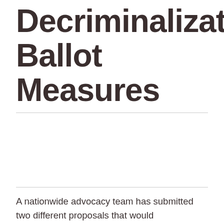Decriminalization Ballot Measures
[Figure (photo): Image area between horizontal dividers (blank/white area suggesting a photo placeholder)]
A nationwide advocacy team has submitted two different proposals that would decriminalize psychedelics in Colorado in an hard work to place the challenge in advance of voters in future year's basic election. New Approach PAC, a Washington